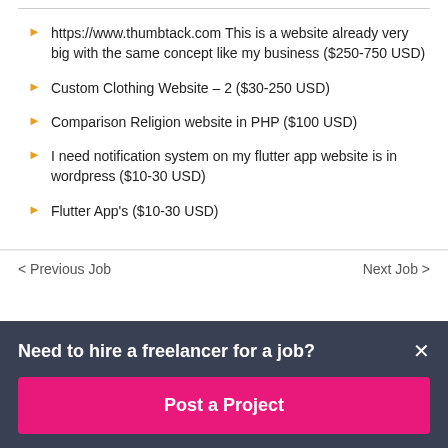https://www.thumbtack.com This is a website already very big with the same concept like my business ($250-750 USD)
Custom Clothing Website – 2 ($30-250 USD)
Comparison Religion website in PHP ($100 USD)
I need notification system on my flutter app website is in wordpress ($10-30 USD)
Flutter App's ($10-30 USD)
< Previous Job   Next Job >
Need to hire a freelancer for a job?
Post a Project